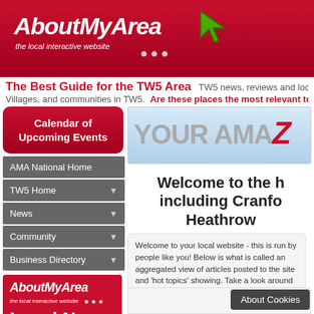[Figure (logo): AboutMyArea website header with red background, white bold italic logo text 'AboutMyArea', tagline 'the local interactive website', dots and green cursor icon]
The Best Guide for the TW5 Area
TW5 news, reviews and local information. Villages, and communities in TW5. Are these places the most relevant to this postcode?
Calendar of Upcoming Events
AMA National Home
TW5 Home
News
Community
Business Directory
[Figure (logo): AboutMyArea red box with logo and 'Local News & Events 24/7' text]
[Figure (screenshot): YOUR AMAZ banner with light blue gradient background, large grey text 'YOUR AMAZ' with red stylized Z]
Welcome to the h including Cranfo Heathrow
Welcome to your local website - this is run by people like you! Below is what is called an aggregated view of articles posted to the site and 'hot topics' showing. Take a look around or get stuck in straight away.
About Cookies